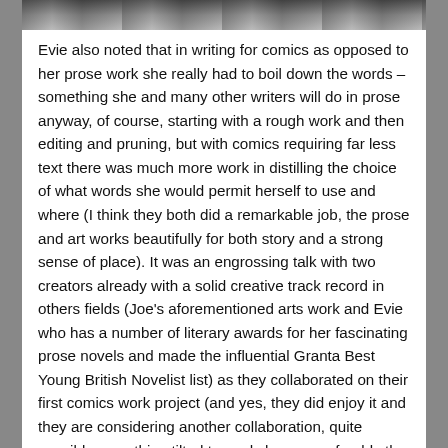[Figure (photo): Black and white photo strip showing partial view of people, cropped at top of page]
Evie also noted that in writing for comics as opposed to her prose work she really had to boil down the words – something she and many other writers will do in prose anyway, of course, starting with a rough work and then editing and pruning, but with comics requiring far less text there was much more work in distilling the choice of what words she would permit herself to use and where (I think they both did a remarkable job, the prose and art works beautifully for both story and a strong sense of place). It was an engrossing talk with two creators already with a solid creative track record in others fields (Joe's aforementioned arts work and Evie who has a number of literary awards for her fascinating prose novels and made the influential Granta Best Young British Novelist list) as they collaborated on their first comics work project (and yes, they did enjoy it and they are considering another collaboration, quite possibly something tilted towards horror, preferably the creepy, chilling kind of horror, which I like the sound of). It was terrific to meet them and I look forward to them producing more comics work in the future